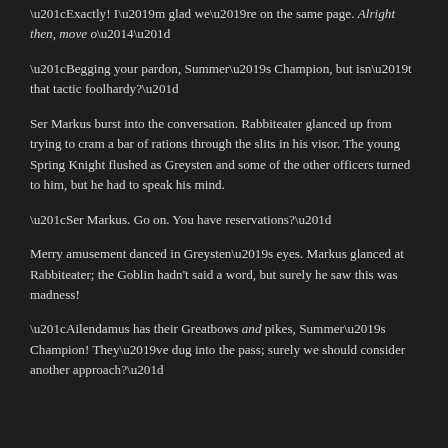“Exactly! I’m glad we’re on the same page. Alright then, move o—”
“Begging your pardon, Summer’s Champion, but isn’t that tactic foolhardy?”
Ser Markus burst into the conversation. Rabbiteater glanced up from trying to cram a bar of rations through the slits in his visor. The young Spring Knight flushed as Greysten and some of the other officers turned to him, but he had to speak his mind.
“Ser Markus. Go on. You have reservations?”
Merry amusement danced in Greysten’s eyes. Markus glanced at Rabbiteater; the Goblin hadn’t said a word, but surely he saw this was madness!
“Ailendamus has their Greatbows and pikes, Summer’s Champion! They’ve dug into the pass; surely we should consider another approach?”